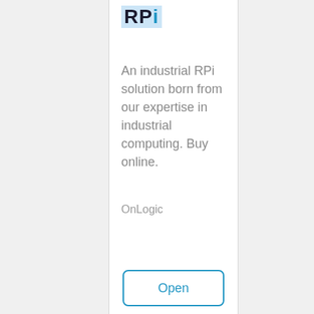RPi
An industrial RPi solution born from our expertise in industrial computing. Buy online.
OnLogic
Open